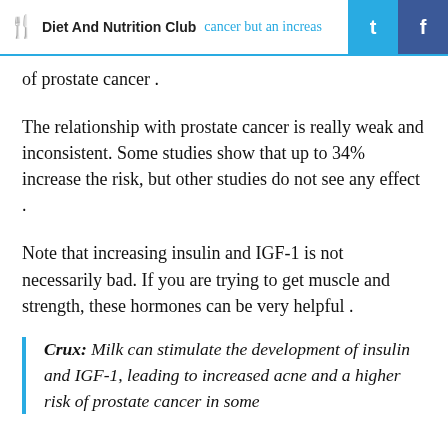Diet And Nutrition Club
of prostate cancer .
The relationship with prostate cancer is really weak and inconsistent. Some studies show that up to 34% increase the risk, but other studies do not see any effect .
Note that increasing insulin and IGF-1 is not necessarily bad. If you are trying to get muscle and strength, these hormones can be very helpful .
Crux: Milk can stimulate the development of insulin and IGF-1, leading to increased acne and a higher risk of prostate cancer in some